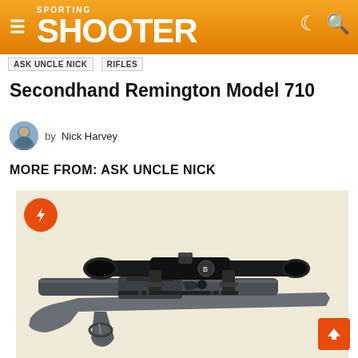SPORTING SHOOTER
ASK UNCLE NICK  RIFLES
Secondhand Remington Model 710
by Nick Harvey
MORE FROM: ASK UNCLE NICK
[Figure (photo): Close-up photo of a Remington Model 710 bolt-action rifle with a Bushnell scope mounted on top, grey synthetic stock, on a light cream/beige background.]